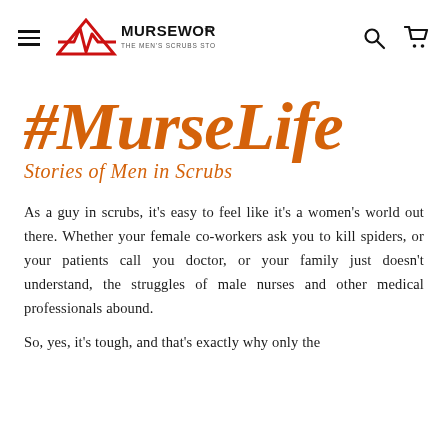[Figure (logo): MurseWorld logo with hamburger menu icon on left and search/cart icons on right. Logo features a red heartbeat line with 'MURSEWORLD' text and tagline 'THE MEN'S SCRUBS STORE']
#MurseLife
Stories of Men in Scrubs
As a guy in scrubs, it's easy to feel like it's a women's world out there. Whether your female co-workers ask you to kill spiders, or your patients call you doctor, or your family just doesn't understand, the struggles of male nurses and other medical professionals abound.
So, yes, it's tough, and that's exactly why only the